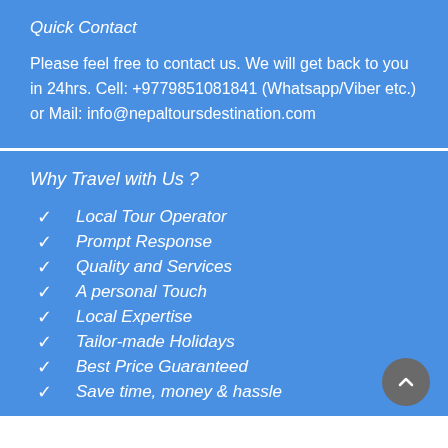Quick Contact
Please feel free to contact us. We will get back to you in 24hrs. Cell: +9779851081841 (Whatsapp/Viber etc.) or Mail: info@nepaltoursdestination.com
Why Travel with Us ?
Local Tour Operator
Prompt Response
Quality and Services
A personal Touch
Local Expertise
Tailor-made Holidays
Best Price Guaranteed
Save time, money & hassle